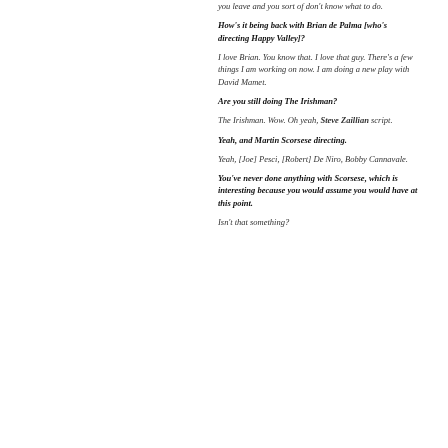you leave and you sort of don't know what to do.
How's it being back with Brian de Palma [who's directing Happy Valley]?
I love Brian. You know that. I love that guy. There's a few things I am working on now. I am doing a new play with David Mamet.
Are you still doing The Irishman?
The Irishman. Wow. Oh yeah, Steve Zaillian script.
Yeah, and Martin Scorsese directing.
Yeah, [Joe] Pesci, [Robert] De Niro, Bobby Cannavale.
You've never done anything with Scorsese, which is interesting because you would assume you would have at this point.
Isn't that something?